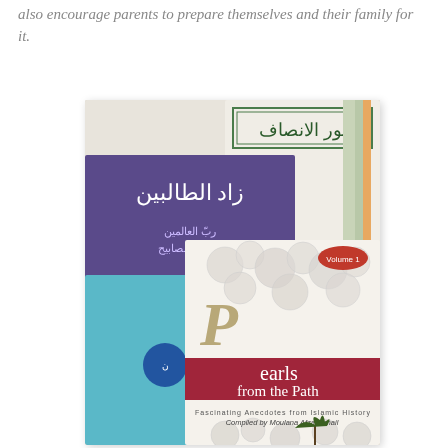also encourage parents to prepare themselves and their family for it.
[Figure (photo): A photograph showing several Islamic books stacked together. Visible titles include Arabic text books and 'Pearls from the Path – Fascinating Anecdotes from Islamic History, Volume 1, Compiled by Moulana Afzal Ismail'.]